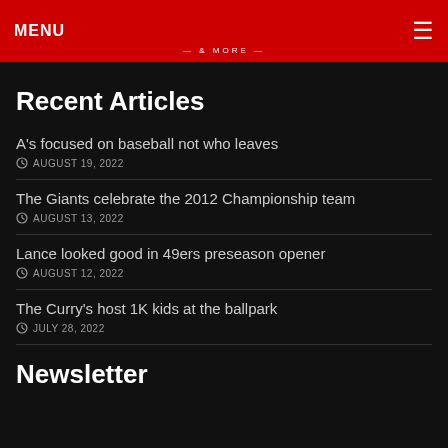MENU  & MORE
Recent Articles
A's focused on baseball not who leaves
AUGUST 19, 2022
The Giants celebrate the 2012 Championship team
AUGUST 13, 2022
Lance looked good in 49ers preseason opener
AUGUST 12, 2022
The Curry's host 1K kids at the ballpark
JULY 28, 2022
Newsletter